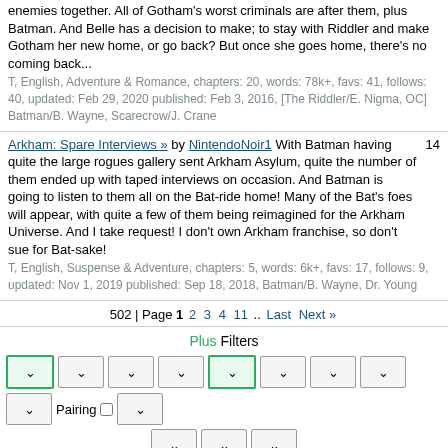enemies together. All of Gotham's worst criminals are after them, plus Batman. And Belle has a decision to make; to stay with Riddler and make Gotham her new home, or go back? But once she goes home, there's no coming back...
T, English, Adventure & Romance, chapters: 20, words: 78k+, favs: 41, follows: 40, updated: Feb 29, 2020 published: Feb 3, 2016, [The Riddler/E. Nigma, OC] Batman/B. Wayne, Scarecrow/J. Crane
Arkham: Spare Interviews » by NintendoNoir1 With Batman having quite the large rogues gallery sent Arkham Asylum, quite the number of them ended up with taped interviews on occasion. And Batman is going to listen to them all on the Bat-ride home! Many of the Bat's foes will appear, with quite a few of them being reimagined for the Arkham Universe. And I take request! I don't own Arkham franchise, so don't sue for Bat-sake!
T, English, Suspense & Adventure, chapters: 5, words: 6k+, favs: 17, follows: 9, updated: Nov 1, 2019 published: Sep 18, 2018, Batman/B. Wayne, Dr. Young
502 | Page 1 2 3 4 11 .. Last Next »
Plus Filters
Without Filters
Pairing
Pairing